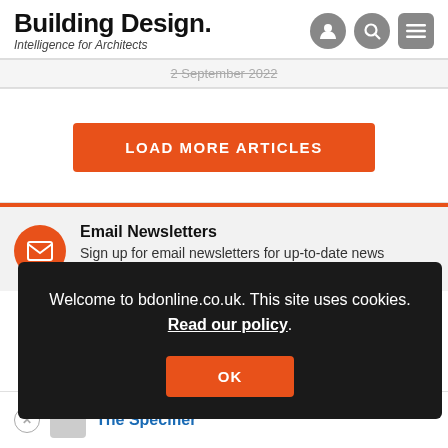Building Design. Intelligence for Architects
2 September 2022
LOAD MORE ARTICLES
Email Newsletters
Sign up for email newsletters for up-to-date news
Welcome to bdonline.co.uk. This site uses cookies. Read our policy.
OK
The Specifier